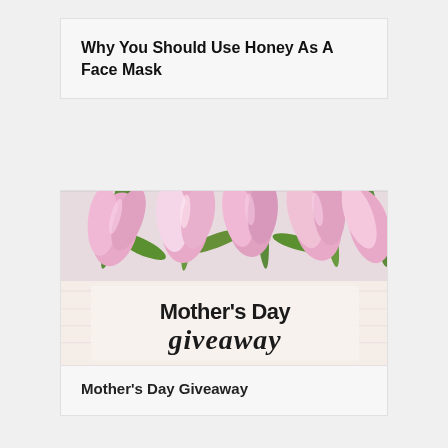Why You Should Use Honey As A Face Mask
[Figure (photo): Photo of pink tulips laid on a white wooden surface with text 'Mother's Day giveaway' overlaid in bold and cursive fonts]
Mother's Day Giveaway